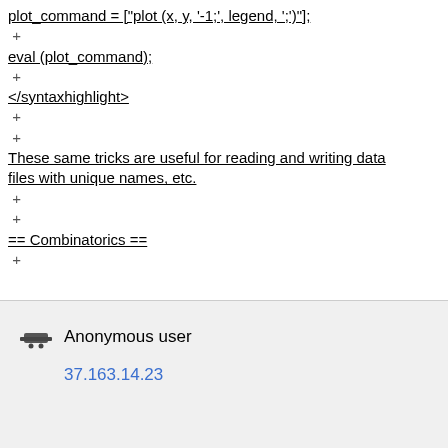plot_command = ["plot (x, y, '-1;', legend, ';')"];
+
eval (plot_command);
+
</syntaxhighlight>
+
+
These same tricks are useful for reading and writing data files with unique names, etc.
+
+
== Combinatorics ==
Anonymous user
37.163.14.23